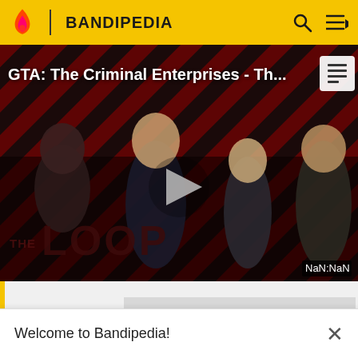BANDIPEDIA
[Figure (screenshot): Video player showing GTA: The Criminal Enterprises - Th... with THE LOOP branding, a play button in the center, and NaN:NaN timestamp in lower right]
Welcome to Bandipedia!